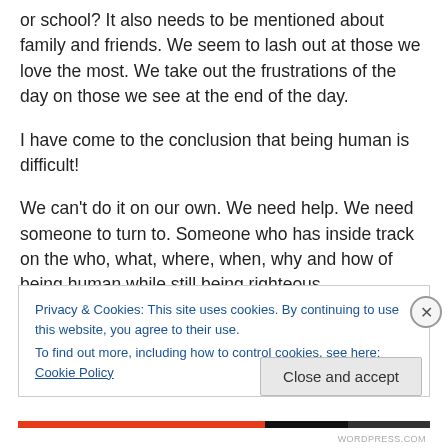or school? It also needs to be mentioned about family and friends. We seem to lash out at those we love the most. We take out the frustrations of the day on those we see at the end of the day.
I have come to the conclusion that being human is difficult!
We can’t do it on our own. We need help. We need someone to turn to. Someone who has inside track on the who, what, where, when, why and how of being human while still being righteous.
Privacy & Cookies: This site uses cookies. By continuing to use this website, you agree to their use.
To find out more, including how to control cookies, see here: Cookie Policy